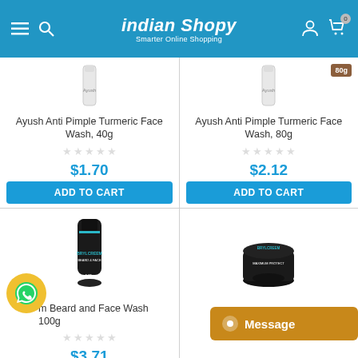Indian Shopy - Smarter Online Shopping
Ayush Anti Pimple Turmeric Face Wash, 40g
$1.70
ADD TO CART
Ayush Anti Pimple Turmeric Face Wash, 80g
$2.12
ADD TO CART
m Beard and Face Wash 100g
$3.71
Bryl
$1.88
[Figure (screenshot): WhatsApp contact button (yellow circle with green WhatsApp icon)]
[Figure (screenshot): Orange Message button with chat icon]